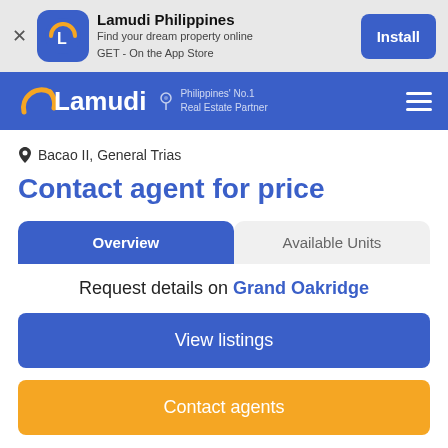[Figure (screenshot): App install banner for Lamudi Philippines with app icon, name, tagline, and Install button]
[Figure (screenshot): Lamudi Philippines navigation bar with logo, tagline Philippines No.1 Real Estate Partner, and hamburger menu]
Bacao II, General Trias
Contact agent for price
Overview | Available Units
Request details on Grand Oakridge
View listings
Contact agents